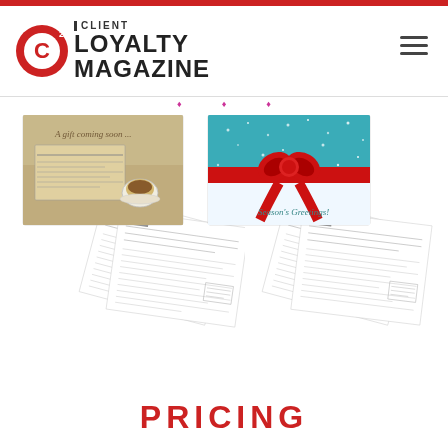[Figure (logo): G2 Client Loyalty Magazine logo with red circle containing C, and text CLIENT LOYALTY MAGAZINE]
[Figure (photo): Two postcard/mailer product mockups side by side. Left cluster shows a postcard with newspaper and coffee cup image with text 'A gift coming soon...' and letter documents fanned out. Right cluster shows a postcard with teal glitter background and red bow ribbon with 'Season's Greetings!' text and letter documents fanned out.]
PRICING